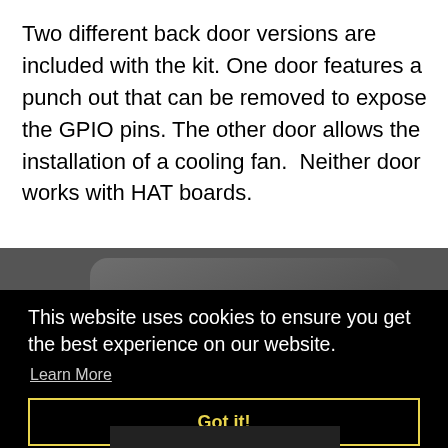Two different back door versions are included with the kit. One door features a punch out that can be removed to expose the GPIO pins. The other door allows the installation of a cooling fan.  Neither door works with HAT boards.
[Figure (photo): Photo of a dark gray/black device enclosure (Raspberry Pi case) viewed from the back, partially visible. A cookie consent overlay banner covers the lower portion of the image on a black background.]
This website uses cookies to ensure you get the best experience on our website.
Learn More
Got it!